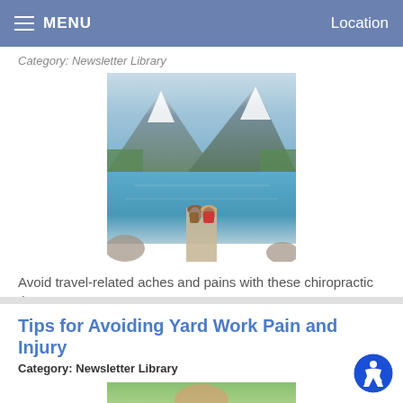MENU    Location
Category: Newsletter Library
[Figure (photo): Two people with backpacks sitting on a dock looking at a mountain lake with snow-capped peaks]
Avoid travel-related aches and pains with these chiropractic tips.
Read more
Tips for Avoiding Yard Work Pain and Injury
Category: Newsletter Library
[Figure (photo): Close-up of a person doing yard work outdoors]